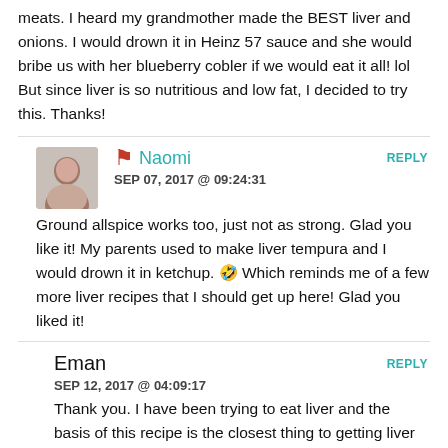meats. I heard my grandmother made the BEST liver and onions. I would drown it in Heinz 57 sauce and she would bribe us with her blueberry cobler if we would eat it all! lol But since liver is so nutritious and low fat, I decided to try this. Thanks!
Naomi
SEP 07, 2017 @ 09:24:31
Ground allspice works too, just not as strong. Glad you like it! My parents used to make liver tempura and I would drown it in ketchup. 🙂 Which reminds me of a few more liver recipes that I should get up here! Glad you liked it!
Eman
SEP 12, 2017 @ 04:09:17
Thank you. I have been trying to eat liver and the basis of this recipe is the closest thing to getting liver into my body that I have tried. I tried chicken livers and that was a flop. I ended up trying to fill these little pill cases with the chicken liver I cooked but ended up gagging on while making them because of the smell. I think the secret ingredient here...